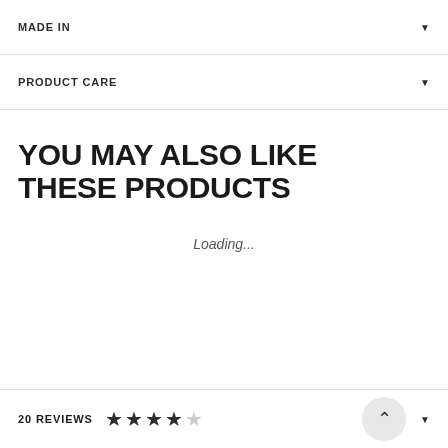MADE IN
PRODUCT CARE
YOU MAY ALSO LIKE THESE PRODUCTS
Loading...
20 REVIEWS ★★★★☆